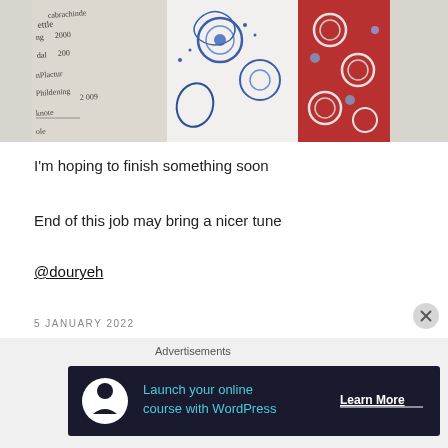[Figure (photo): Photo of fabric swatches and handwritten notes. Left portion shows handwriting on white paper with text partially visible including dates around 2009 and cursive writing. Center and right show patterned fabrics: blue/white floral paisley pattern and a red fabric with white floral pattern.]
I'm hoping to finish something soon
End of this job may bring a nicer tune
@douryeh
5 JANUARY 2022
Home Job
Advertisements
[Figure (screenshot): Advertisement banner with dark navy background. Shows a white circular icon with a person/tree silhouette, green text reading 'Launch your online course with WordPress' and white underlined text 'Learn More']